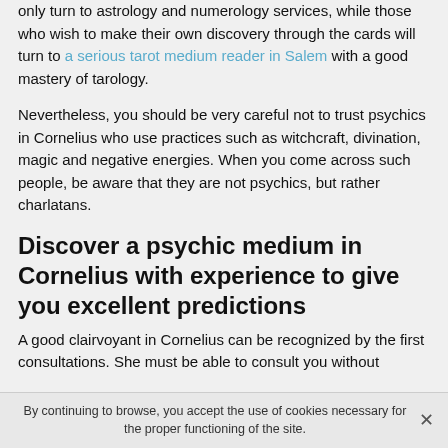only turn to astrology and numerology services, while those who wish to make their own discovery through the cards will turn to a serious tarot medium reader in Salem with a good mastery of tarology.
Nevertheless, you should be very careful not to trust psychics in Cornelius who use practices such as witchcraft, divination, magic and negative energies. When you come across such people, be aware that they are not psychics, but rather charlatans.
Discover a psychic medium in Cornelius with experience to give you excellent predictions
A good clairvoyant in Cornelius can be recognized by the first consultations. She must be able to consult you without
By continuing to browse, you accept the use of cookies necessary for the proper functioning of the site.